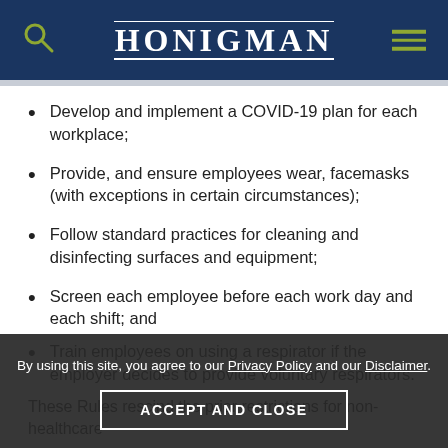HONIGMAN
Develop and implement a COVID-19 plan for each workplace;
Provide, and ensure employees wear, facemasks (with exceptions in certain circumstances);
Follow standard practices for cleaning and disinfecting surfaces and equipment;
Screen each employee before each work day and each shift; and
Train employees on using a respirator if the employer decides to provide voluntary respirators.
These Rules rescind the prior restrictions for non-healthcare employers. Non-healthcare employers should be